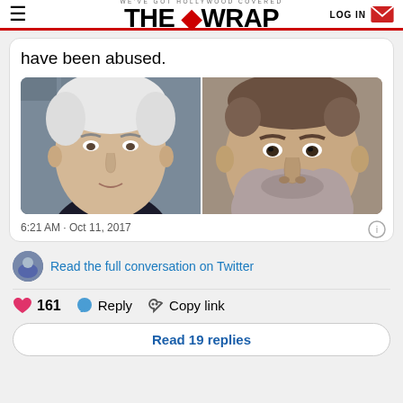WE'VE GOT HOLLYWOOD COVERED | THE WRAP | LOG IN
have been abused.
[Figure (photo): Two side-by-side photos: left photo shows a white-haired older man in a dark suit, right photo shows a heavyset man with gray beard looking directly at camera]
6:21 AM · Oct 11, 2017
Read the full conversation on Twitter
161  Reply  Copy link
Read 19 replies